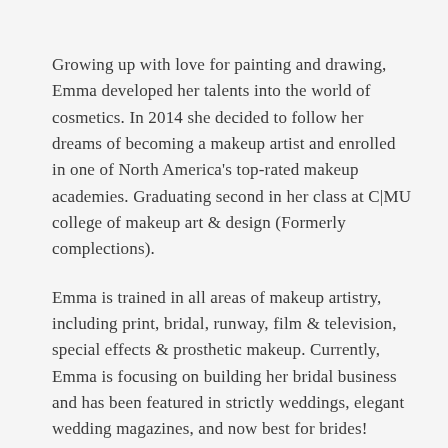Growing up with love for painting and drawing, Emma developed her talents into the world of cosmetics. In 2014 she decided to follow her dreams of becoming a makeup artist and enrolled in one of North America's top-rated makeup academies. Graduating second in her class at C|MU college of makeup art & design (Formerly complections).
Emma is trained in all areas of makeup artistry, including print, bridal, runway, film & television, special effects & prosthetic makeup. Currently, Emma is focusing on building her bridal business and has been featured in strictly weddings, elegant wedding magazines, and now best for brides!  Emma is known for her gentle touch, kind heart and gentle humour. Emma is a dedicated leader and has helped to build positive situations and for fellow artist...